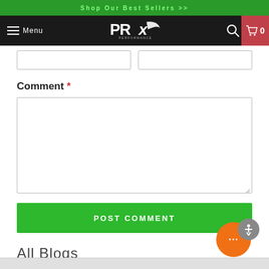Shop Our Best Sellers >>
[Figure (logo): PRx Performance logo in navigation bar]
Comment *
POST COMMENT
All Blogs